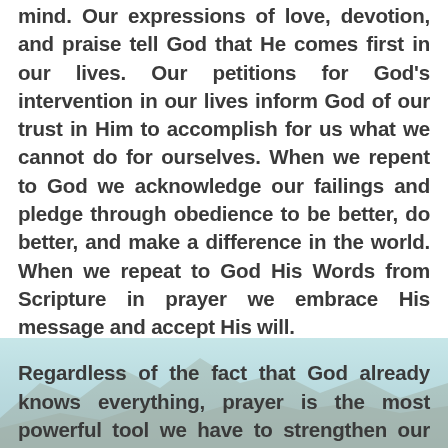mind. Our expressions of love, devotion, and praise tell God that He comes first in our lives. Our petitions for God's intervention in our lives inform God of our trust in Him to accomplish for us what we cannot do for ourselves. When we repent to God we acknowledge our failings and pledge through obedience to be better, do better, and make a difference in the world. When we repeat to God His Words from Scripture in prayer we embrace His message and accept His will.
Regardless of the fact that God already knows everything, prayer is the most powerful tool we have to strengthen our relationship with Him. So, pray often. Pray fervently. Pray with purpose. Pray in love. Pray with the expectation of growth in your relationship with God, and be blessed.